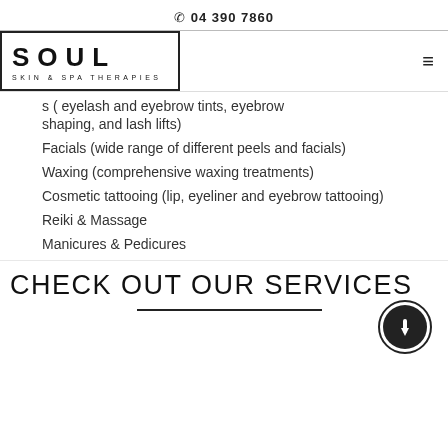✆ 04 390 7860
[Figure (logo): SOUL Skin & Spa Therapies logo in a rectangular border]
s ( eyelash and eyebrow tints, eyebrow shaping, and lash lifts)
Facials (wide range of different peels and facials)
Waxing (comprehensive waxing treatments)
Cosmetic tattooing (lip, eyeliner and eyebrow tattooing)
Reiki & Massage
Manicures & Pedicures
CHECK OUT OUR SERVICES